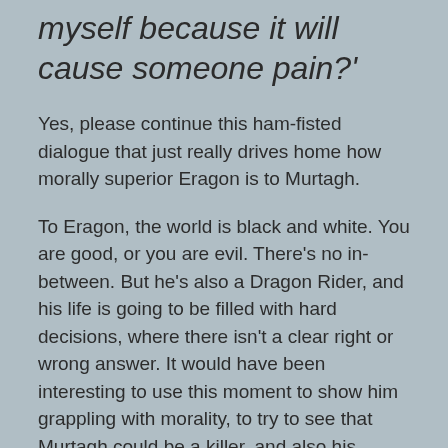myself because it will cause someone pain?'
Yes, please continue this ham-fisted dialogue that just really drives home how morally superior Eragon is to Murtagh.
To Eragon, the world is black and white. You are good, or you are evil. There's no in-between. But he's also a Dragon Rider, and his life is going to be filled with hard decisions, where there isn't a clear right or wrong answer. It would have been interesting to use this moment to show him grappling with morality, to try to see that Murtagh could be a killer, and also his friend, or to wonder if the end truly justifies the means. And he does, a little bit, when he tells Saphira